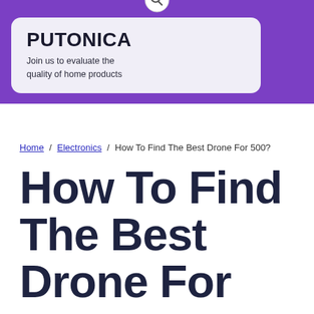PUTONICA
Join us to evaluate the quality of home products
Home / Electronics / How To Find The Best Drone For 500?
How To Find The Best Drone For